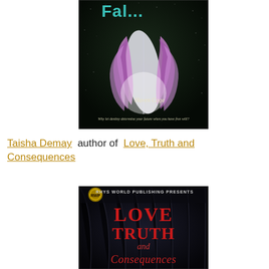[Figure (photo): Book cover image showing a purple and white feather on a dark background with the text 'Haven Cage' and tagline 'Why let destiny determine your future when you have free will?' Partial title text 'Fal...' visible at top in teal letters.]
Taisha Demay  author of  Love, Truth and Consequences
[Figure (photo): Book cover image for 'Love, Truth and Consequences' presented by Rhys World Publishing. Dark background with decorative text.]